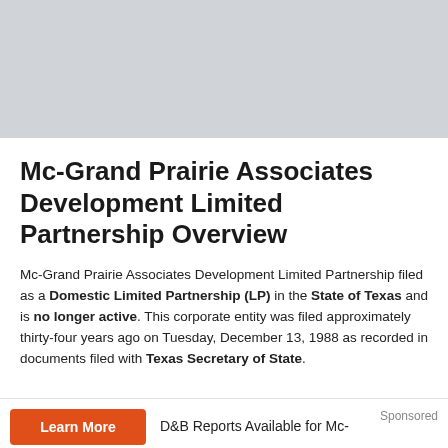[Figure (other): Gray advertisement banner at top of page]
Mc-Grand Prairie Associates Development Limited Partnership Overview
Mc-Grand Prairie Associates Development Limited Partnership filed as a Domestic Limited Partnership (LP) in the State of Texas and is no longer active. This corporate entity was filed approximately thirty-four years ago on Tuesday, December 13, 1988 as recorded in documents filed with Texas Secretary of State.
D&B Reports Available for Mc-
Sponsored